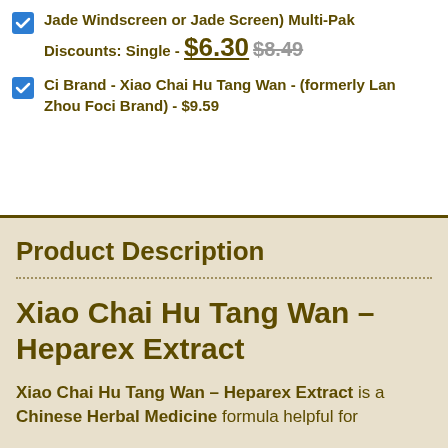Jade Windscreen or Jade Screen) Multi-Pak Discounts: Single - $6.30 $8.49
Ci Brand - Xiao Chai Hu Tang Wan - (formerly Lan Zhou Foci Brand) - $9.59
Product Description
Xiao Chai Hu Tang Wan – Heparex Extract
Xiao Chai Hu Tang Wan – Heparex Extract is a Chinese Herbal Medicine formula helpful for